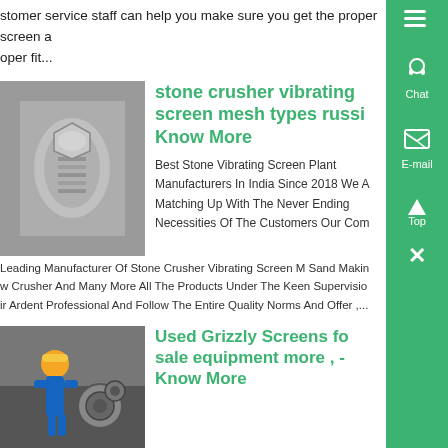stomer service staff can help you make sure you get the proper screen a oper fit...
[Figure (photo): Close-up photo of a metal bolt on a grey surface]
stone crusher vibrating screen mesh types russi Know More
Best Stone Vibrating Screen Plant Manufacturers In India Since 2018 We A Matching Up With The Never Ending Necessities Of The Customers Our Com Leading Manufacturer Of Stone Crusher Vibrating Screen M Sand Makin w Crusher And Many More All The Products Under The Keen Supervisio ir Ardent Professional And Follow The Entire Quality Norms And Offer ,...
[Figure (photo): Worker in yellow hard hat and blue overalls working on industrial equipment]
Used Grizzly Screens fo sale equipment more , - Know More